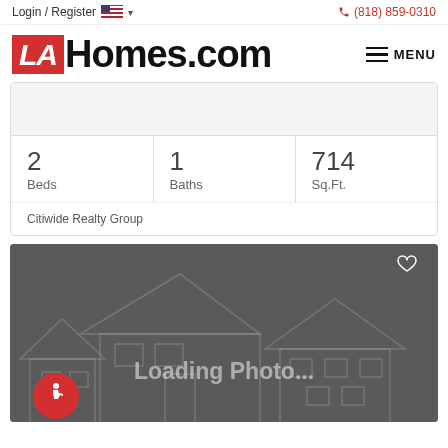Login / Register  (818) 859-0310
LAHomes.com
| Beds | Baths | Sq.Ft. |
| --- | --- | --- |
| 2 | 1 | 714 |
Citiwide Realty Group
[Figure (photo): Loading Photo... placeholder with house outline illustration on dark grey background, heart icon top right, accessibility icon bottom left]